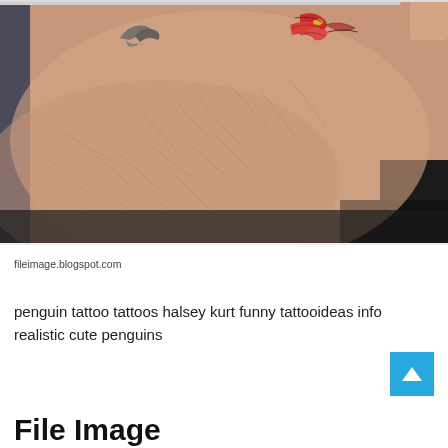[Figure (photo): Close-up photograph of a person's skin (appears to be a limb) with tattoos visible at the top — a bird/wing tattoo in gray and a red floral tattoo with colors. The skin shows fine hair and texture detail. Dark background at bottom right.]
fileimage.blogspot.com
penguin tattoo tattoos halsey kurt funny tattooideas info realistic cute penguins
File Image